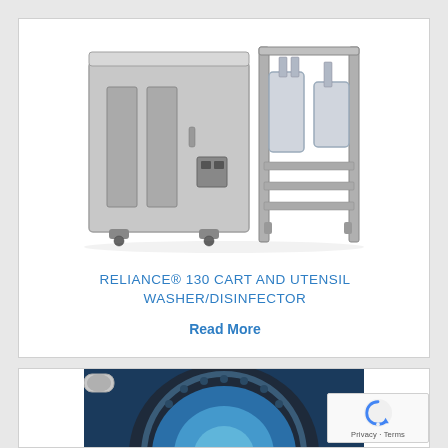[Figure (photo): Industrial cart and utensil washer/disinfector machine — large silver/grey box-shaped unit with mechanical components visible on the right side]
RELIANCE® 130 CART AND UTENSIL WASHER/DISINFECTOR
Read More
[Figure (photo): Close-up blue-toned circular mechanical component, possibly the interior of a washer/disinfector drum with circular ports]